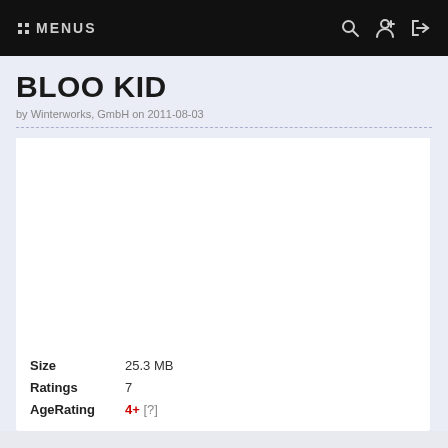:: MENUS
BLOO KID
by Winterworks, GmbH on 2011-08-03
[Figure (screenshot): White app screenshot/preview area (blank white rectangle)]
Size	25.3 MB
Ratings	7
AgeRating	4+ [?]